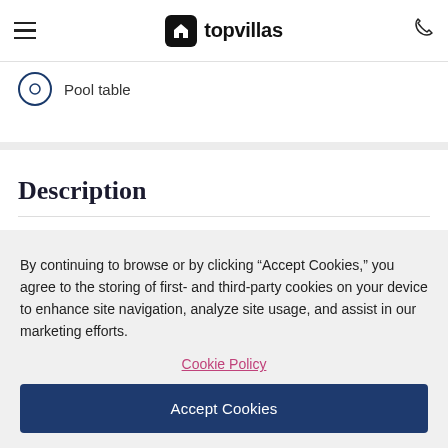topvillas
Pool table
Description
With convenient ski in/ski out access to all of the resorts
By continuing to browse or by clicking “Accept Cookies,” you agree to the storing of first- and third-party cookies on your device to enhance site navigation, analyze site usage, and assist in our marketing efforts.
Cookie Policy
Accept Cookies